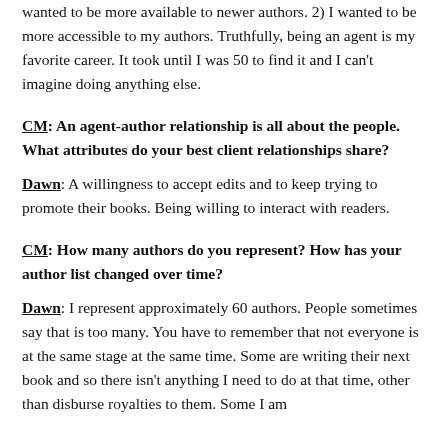wanted to be more available to newer authors. 2) I wanted to be more accessible to my authors. Truthfully, being an agent is my favorite career. It took until I was 50 to find it and I can't imagine doing anything else.
CM: An agent-author relationship is all about the people. What attributes do your best client relationships share?
Dawn: A willingness to accept edits and to keep trying to promote their books. Being willing to interact with readers.
CM: How many authors do you represent? How has your author list changed over time?
Dawn: I represent approximately 60 authors. People sometimes say that is too many. You have to remember that not everyone is at the same stage at the same time. Some are writing their next book and so there isn't anything I need to do at that time, other than disburse royalties to them. Some I am